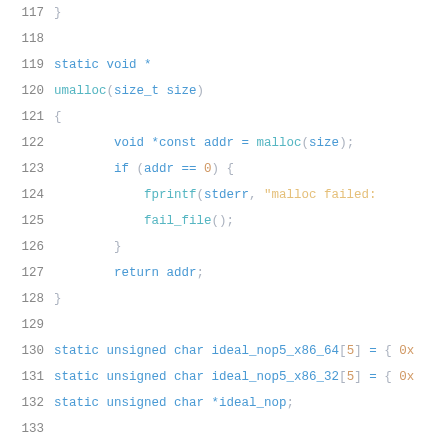Source code listing, lines 117-137, C code showing umalloc function and static variable declarations
117   }
118   (blank)
119   static void *
120   umalloc(size_t size)
121   {
122       void *const addr = malloc(size);
123       if (addr == 0) {
124           fprintf(stderr, "malloc failed:
125           fail_file();
126       }
127       return addr;
128   }
129   (blank)
130   static unsigned char ideal_nop5_x86_64[5] = { 0x
131   static unsigned char ideal_nop5_x86_32[5] = { 0x
132   static unsigned char *ideal_nop;
133   (blank)
134   static char rel_type_nop;
135   (blank)
136   static int (*make_nop)(void *map, size_t const c
137   (blank)